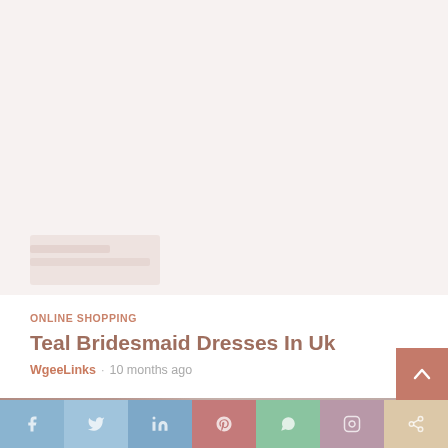[Figure (photo): Faded/washed out top image area, light pink-beige background with faint content placeholder boxes]
ONLINE SHOPPING
Teal Bridesmaid Dresses In Uk
WgeeLinks  10 months ago
[Figure (photo): Person shopping online on a laptop showing a dress product page, warm tones, partially visible hands and background]
[Figure (infographic): Social media share bar with icons: Facebook, Twitter, LinkedIn, Pinterest, WhatsApp, Instagram, Share]